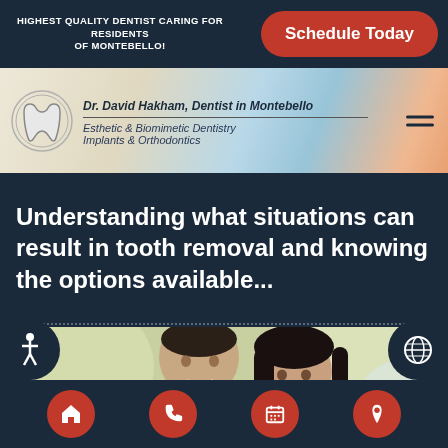HIGHEST QUALITY DENTIST CARING FOR RESIDENTS OF MONTEBELLO!
Schedule Today
[Figure (logo): Dental clinic logo with tooth icon, Dr. David Hakham, Dentist in Montebello, Esthetic & Biomimetic Dentistry, Implants & Orthodontics]
Understanding what situations can result in tooth removal and knowing the options available...
[Figure (photo): Smiling couple, man and woman, leaning together, happy and healthy teeth photo]
Navigation bar with home, phone, calendar, and location icons